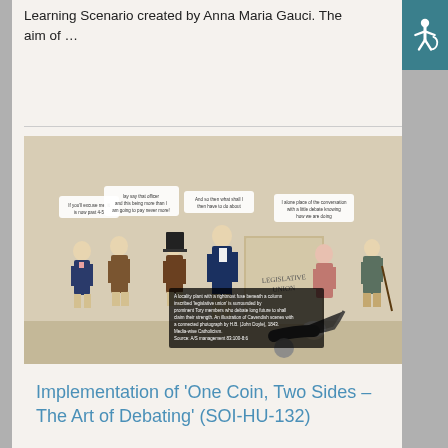Learning Scenario created by Anna Maria Gauci. The aim of …
[Figure (illustration): Historical political cartoon showing several figures in 19th century dress, one figure pushing a cannonball toward a structure labeled 'Legislative Union', with speech bubbles above the characters.]
A locality plant with a rightmost fuse beneath a column inscribed 'legislative union' is surrounded by prominent Tory members who discuss long future plans to build claim their strength. An illustration of Cavendish scenes with a connected photograph by H.B. (John Doyle), 1843. Media-wise Catholicism. Source: A/S management 83:100-8:6
Implementation of 'One Coin, Two Sides – The Art of Debating' (SOI-HU-132)